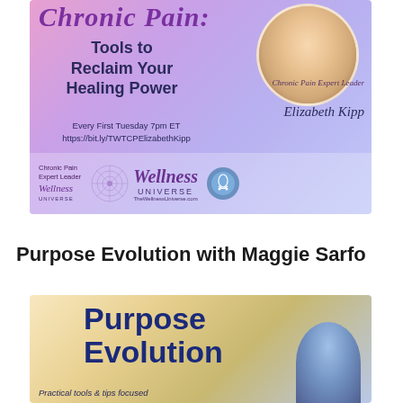[Figure (illustration): Promotional banner for 'Chronic Pain: Tools to Reclaim Your Healing Power' hosted by Elizabeth Kipp, Chronic Pain Expert Leader, on Wellness Universe. Every First Tuesday 7pm ET. URL: https://bit.ly/TWTCPElizabethKipp. Features a headshot of a blonde woman in a circle, Wellness Universe logo and branding.]
Purpose Evolution with Maggie Sarfo
[Figure (illustration): Promotional image for 'Purpose Evolution' show. Bold blue text 'Purpose Evolution' on a warm golden/blue gradient background. Text at bottom reads 'Practical tools & tips focused'. A partial headshot of a woman is visible on the right side.]